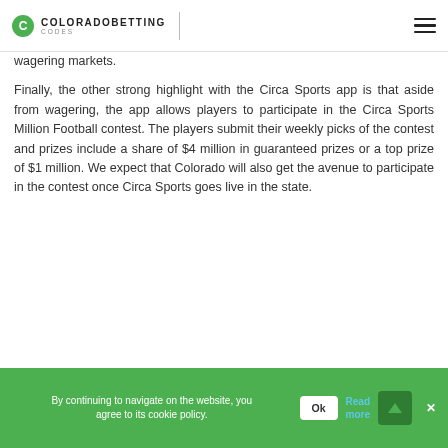COLORADOBETTING CODES
wagering markets.
Finally, the other strong highlight with the Circa Sports app is that aside from wagering, the app allows players to participate in the Circa Sports Million Football contest. The players submit their weekly picks of the contest and prizes include a share of $4 million in guaranteed prizes or a top prize of $1 million. We expect that Colorado will also get the avenue to participate in the contest once Circa Sports goes live in the state.
By continuing to navigate on the website, you agree to its cookie policy. Ok Read more